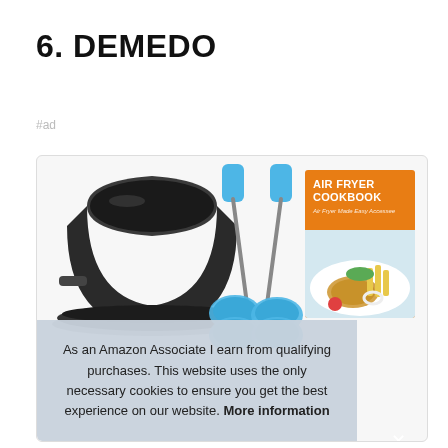6. DEMEDO
#ad
[Figure (photo): Product image showing air fryer accessories including a black baking pan, metal tongs with blue silicone grips, an Air Fryer Cookbook with orange cover showing fried food, and blue silicone cups]
As an Amazon Associate I earn from qualifying purchases. This website uses the only necessary cookies to ensure you get the best experience on our website. More information